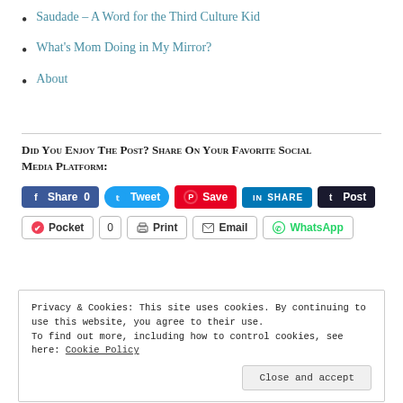Saudade – A Word for the Third Culture Kid
What's Mom Doing in My Mirror?
About
Did you enjoy the post? Share on your favorite social media platform:
[Figure (screenshot): Social media share buttons: Facebook Share 0, Tweet, Pinterest Save, LinkedIn SHARE, Tumblr Post, Pocket 0, Print, Email, WhatsApp]
Privacy & Cookies: This site uses cookies. By continuing to use this website, you agree to their use. To find out more, including how to control cookies, see here: Cookie Policy
Close and accept